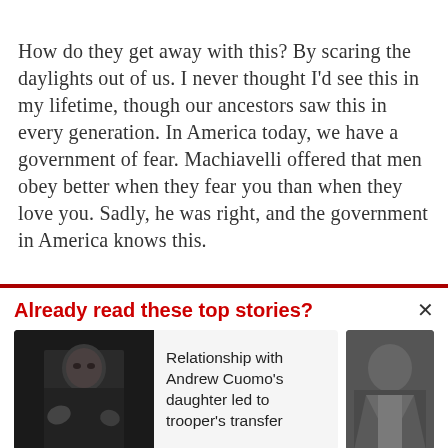How do they get away with this? By scaring the daylights out of us. I never thought I'd see this in my lifetime, though our ancestors saw this in every generation. In America today, we have a government of fear. Machiavelli offered that men obey better when they fear you than when they love you. Sadly, he was right, and the government in America knows this.
Already read these top stories?
Relationship with Andrew Cuomo's daughter led to trooper's transfer